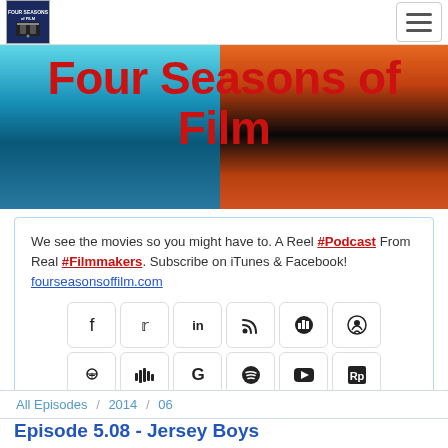Four Seasons of Film
Four Seasons of Film
We see the movies so you might have to. A Reel #Podcast From Real #Filmmakers. Subscribe on iTunes & Facebook!      fourseasonsoffilm.com
[Figure (infographic): Social media icon buttons in two rows: Facebook, Twitter, LinkedIn, RSS, Chartable, Podcasts, Google+, Stitcher, Google, Spotify, YouTube, Headliner]
All Episodes / 2014 / 06
Episode 5.08 - Jersey Boys